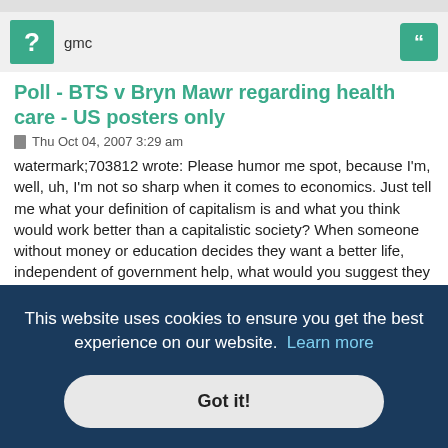gmc
Poll - BTS v Bryn Mawr regarding health care - US posters only
Thu Oct 04, 2007 3:29 am
watermark;703812 wrote: Please humor me spot, because I'm, well, uh, I'm not so sharp when it comes to economics. Just tell me what your definition of capitalism is and what you think would work better than a capitalistic society? When someone without money or education decides they want a better life, independent of government help, what would you suggest they do? I know I don't have any business talking about these things. It just seems that any system that deals with so many people will have problems. I think that any system is dog eat dog. I think that there [text continues behind overlay] an that [or should] [are. Lots] [s decided] [n this] [ote me] :-5) on a senseless war that was absolutely ill advised (by me) to begin
This website uses cookies to ensure you get the best experience on our website.  Learn more
Got it!